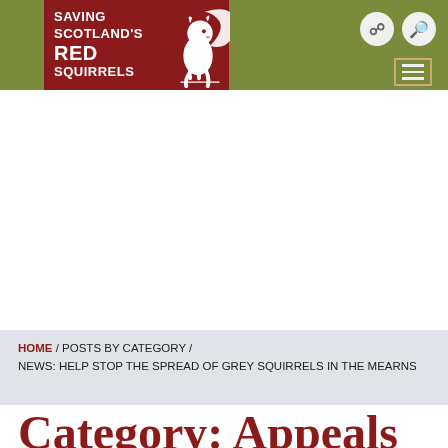[Figure (logo): Saving Scotland's Red Squirrels logo — dark red box with white squirrel silhouette and organization name in white text, on olive green header background with navigation icons and hamburger menu button]
HOME / POSTS BY CATEGORY / NEWS: HELP STOP THE SPREAD OF GREY SQUIRRELS IN THE MEARNS
Category: Appeals and